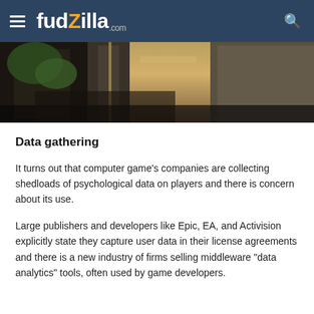fudzilla.com
[Figure (photo): A partial view of a dark futuristic urban environment scene from a video game, showing tall metallic structures and a glowing light source, viewed from below.]
Data gathering
It turns out that computer game's companies are collecting shedloads of psychological data on players and there is concern about its use.
Large publishers and developers like Epic, EA, and Activision explicitly state they capture user data in their license agreements and there is a new industry of firms selling middleware "data analytics" tools, often used by game developers.